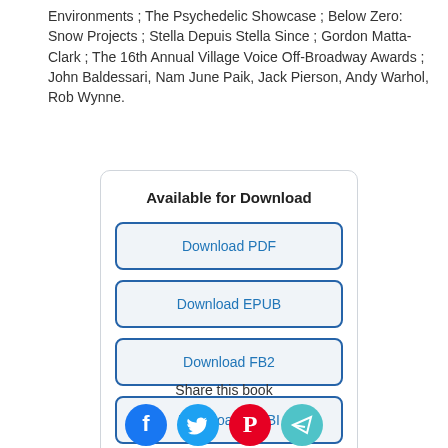Environments ; The Psychedelic Showcase ; Below Zero: Snow Projects ; Stella Depuis Stella Since ; Gordon Matta-Clark ; The 16th Annual Village Voice Off-Broadway Awards ; John Baldessari, Nam June Paik, Jack Pierson, Andy Warhol, Rob Wynne.
Available for Download
Download PDF
Download EPUB
Download FB2
Download MOBI
Download TXT
Share this book
[Figure (infographic): Social share icons: Facebook (blue circle), Twitter (teal circle), Pinterest (red circle), share/email (teal circle with paper plane)]